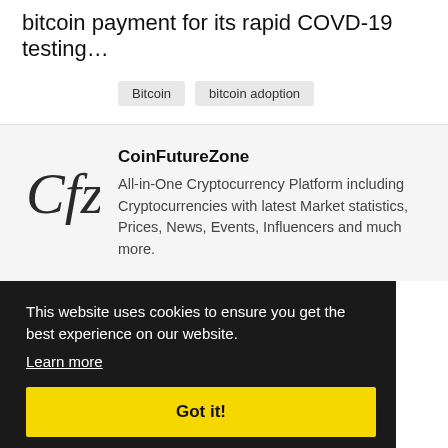bitcoin payment for its rapid COVD-19 testing…
Bitcoin
bitcoin adoption
[Figure (logo): CoinFutureZone logo — stylized cursive 'Cfz' lettering in dark gray]
CoinFutureZone
All-in-One Cryptocurrency Platform including Cryptocurrencies with latest Market statistics, Prices, News, Events, Influencers and much more.
This website uses cookies to ensure you get the best experience on our website.
Learn more
Got it!